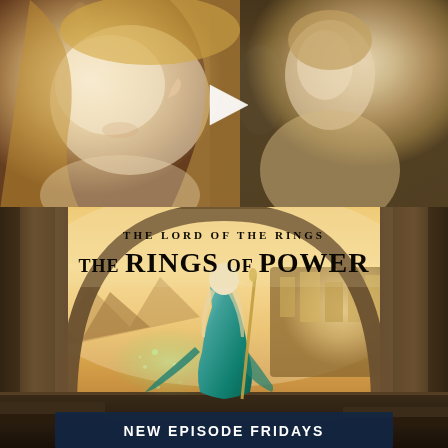[Figure (photo): Top half: movie scene still showing a young blonde woman with pointed ears (an elf) in the foreground looking upward, with a young man and other figures in soft focus behind her in a warm interior setting. A white play button triangle is overlaid in the center.]
[Figure (photo): Bottom half: official promotional poster for 'The Lord of the Rings: The Rings of Power'. Shows a woman in a teal/green flowing gown holding a staff, standing in an arched stone doorway overlooking a fantasy city and mountain landscape bathed in golden light. Title text reads 'THE LORD OF THE RINGS / THE RINGS OF POWER' in large serif font. Banner at bottom reads 'NEW EPISODE FRIDAYS'.]
THE LORD OF THE RINGS
THE RINGS OF POWER
NEW EPISODE FRIDAYS